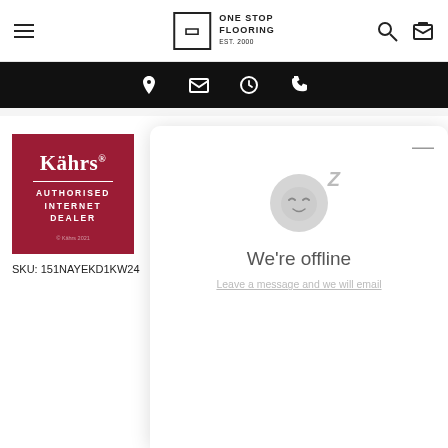One Stop Flooring — navigation header with hamburger menu, logo, search and cart icons
[Figure (screenshot): Black contact bar with location pin, email, clock, and phone icons on dark background]
[Figure (logo): Kährs Authorised Internet Dealer badge — dark red/crimson square badge with Kährs brand name and text]
SKU: 151NAYEKD1KW24
[Figure (screenshot): Live chat widget overlay showing sleeping face icon with Z, 'We're offline' text, and 'Leave a message and we will email' link]